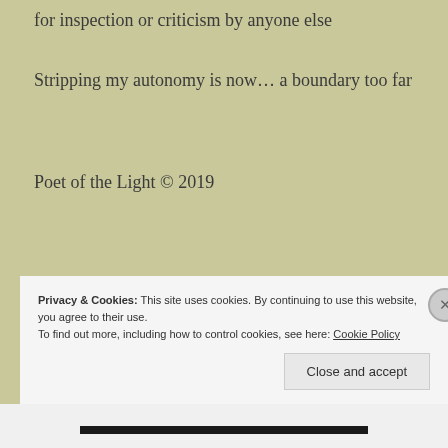for inspection or criticism by anyone else
Stripping my autonomy is now… a boundary too far
Poet of the Light © 2019
Privacy & Cookies: This site uses cookies. By continuing to use this website, you agree to their use.
To find out more, including how to control cookies, see here: Cookie Policy
Close and accept